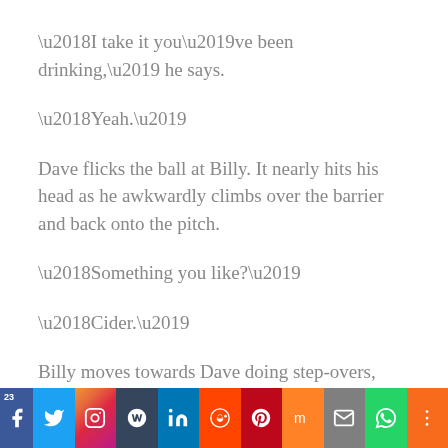‘I take it you’ve been drinking,’ he says.
‘Yeah.’
Dave flicks the ball at Billy. It nearly hits his head as he awkwardly climbs over the barrier and back onto the pitch.
‘Something you like?’
‘Cider.’
Billy moves towards Dave doing step-overs, then bends his foot on the ball